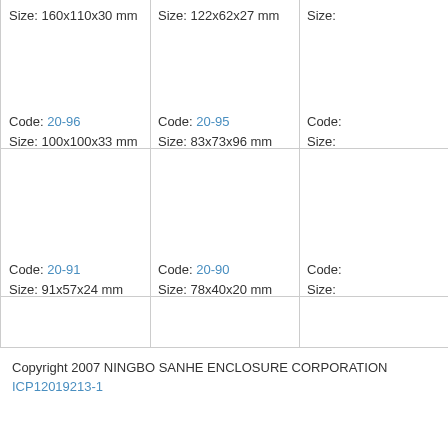Size: 160x110x30 mm
Size: 122x62x27 mm
Size:
Code: 20-96
Size: 100x100x33 mm
Code: 20-95
Size: 83x73x96 mm
Code:
Size:
Code: 20-91
Size: 91x57x24 mm
Code: 20-90
Size: 78x40x20 mm
Code:
Size:
Copyright 2007 NINGBO SANHE ENCLOSURE CORPORATION
ICP12019213-1